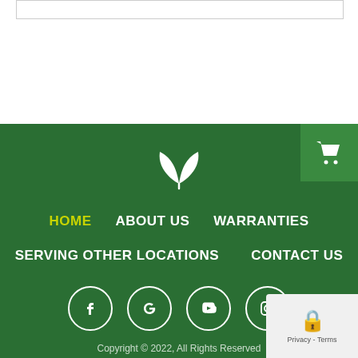[Figure (logo): White leaf/plant logo icon on dark green background]
HOME   ABOUT US   WARRANTIES   SERVING OTHER LOCATIONS   CONTACT US
[Figure (infographic): Social media icons: Facebook, Google, YouTube, Instagram in white circles]
Copyright © 2022, All Rights Reserved